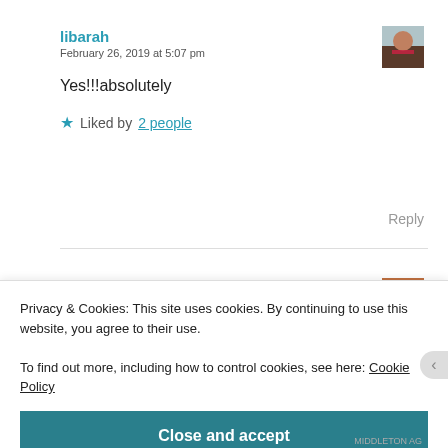libarah
February 26, 2019 at 5:07 pm
Yes!!!absolutely
★ Liked by 2 people
Reply
Privacy & Cookies: This site uses cookies. By continuing to use this website, you agree to their use.
To find out more, including how to control cookies, see here: Cookie Policy
Close and accept